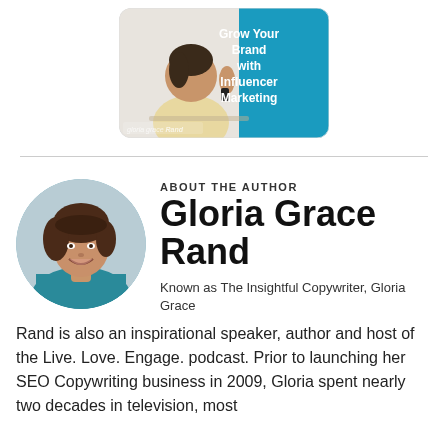[Figure (illustration): Promotional image with a woman waving and text overlay 'Grow Your Brand with Influencer Marketing' on a blue background, with 'gloria grace rand' branding at bottom left.]
ABOUT THE AUTHOR
Gloria Grace Rand
Known as The Insightful Copywriter, Gloria Grace Rand is also an inspirational speaker, author and host of the Live. Love. Engage. podcast. Prior to launching her SEO Copywriting business in 2009, Gloria spent nearly two decades in television, most